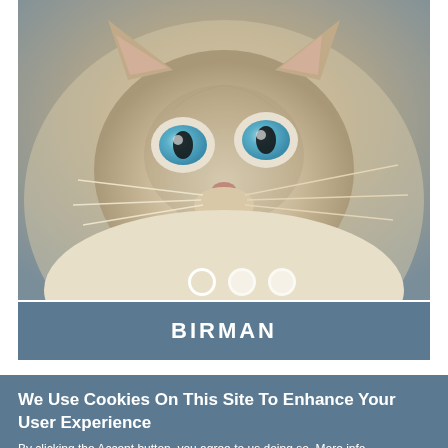[Figure (photo): Close-up photo of a Birman cat with striking blue eyes, grey and beige fur, and white whiskers, looking upward.]
BIRMAN
We Use Cookies On This Site To Enhance Your User Experience
By clicking the Accept button, you agree to us doing so. More info